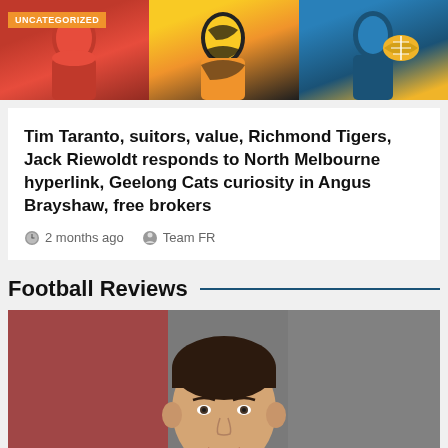[Figure (photo): Three cropped sports photos side by side: AFL player in red, player in yellow/black tiger stripes, player in blue holding yellow football. 'UNCATEGORIZED' badge overlaid on left image.]
Tim Taranto, suitors, value, Richmond Tigers, Jack Riewoldt responds to North Melbourne hyperlink, Geelong Cats curiosity in Angus Brayshaw, free brokers
2 months ago   Team FR
Football Reviews
[Figure (photo): Close-up portrait photo of a young man with dark hair, smiling, wearing a red shirt. Blurred background.]